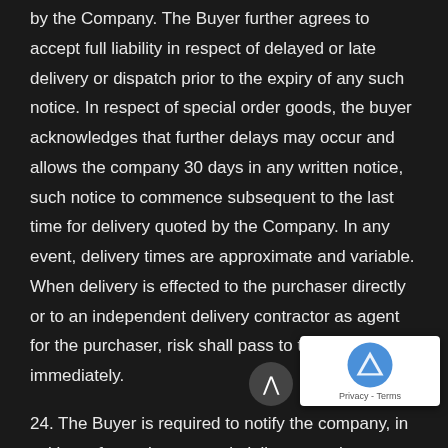by the Company. The Buyer further agrees to accept full liability in respect of delayed or late delivery or dispatch prior to the expiry of any such notice. In respect of special order goods, the buyer acknowledges that further delays may occur and allows the company 30 days in any written notice, such notice to commence subsequent to the last time for delivery quoted by the Company. In any event, delivery times are approximate and variable. When delivery is effected to the purchaser directly or to an independent delivery contractor as agent for the purchaser, risk shall pass to the buyer immediately.
24. The Buyer is required to notify the company, in writing, of any shortage, misdelivery or other discrepancy immediately, or at the latest within seven days of such shortage, misdelivery or failure, thereafter the buyer shall